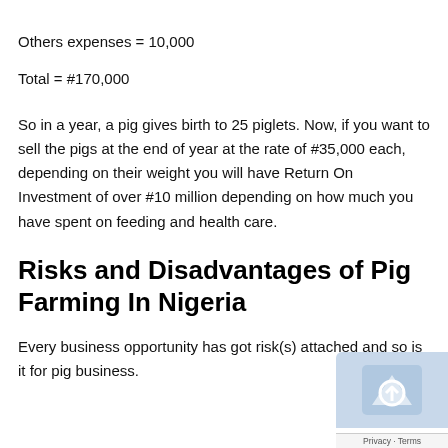Others expenses = 10,000
Total = #170,000
So in a year, a pig gives birth to 25 piglets. Now, if you want to sell the pigs at the end of year at the rate of #35,000 each, depending on their weight you will have Return On Investment of over #10 million depending on how much you have spent on feeding and health care.
Risks and Disadvantages of Pig Farming In Nigeria
Every business opportunity has got risk(s) attached and so is it for pig business.